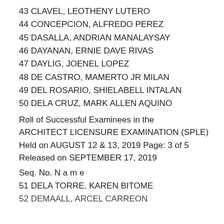43 CLAVEL, LEOTHENY LUTERO
44 CONCEPCION, ALFREDO PEREZ
45 DASALLA, ANDRIAN MANALAYSAY
46 DAYANAN, ERNIE DAVE RIVAS
47 DAYLIG, JOENEL LOPEZ
48 DE CASTRO, MAMERTO JR MILAN
49 DEL ROSARIO, SHIELABELL INTALAN
50 DELA CRUZ, MARK ALLEN AQUINO
Roll of Successful Examinees in the
ARCHITECT LICENSURE EXAMINATION (SPLE)
Held on AUGUST 12 & 13, 2019 Page: 3 of 5
Released on SEPTEMBER 17, 2019
Seq. No. N a m e
51 DELA TORRE, KAREN BITOME
52 DEMAALL, ARCEL CARREON